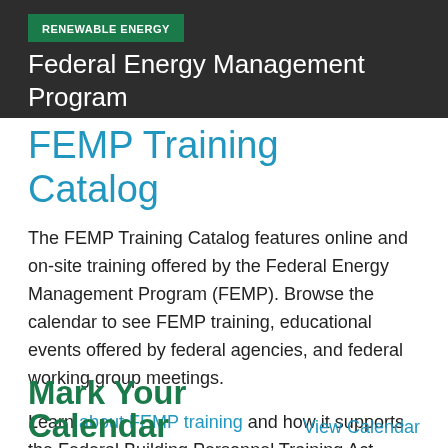RENEWABLE ENERGY
Federal Energy Management Program
FEMP Training Catalog
The FEMP Training Catalog features online and on-site training offered by the Federal Energy Management Program (FEMP). Browse the calendar to see FEMP training, educational events offered by federal agencies, and federal working group meetings.
Learn about FEMP training and how it supports the Federal Building Personnel Training Act.
Mark Your Calendar
View Calendar